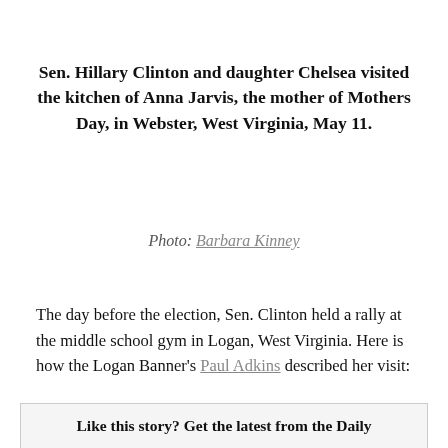Sen. Hillary Clinton and daughter Chelsea visited the kitchen of Anna Jarvis, the mother of Mothers Day, in Webster, West Virginia, May 11.
Photo: Barbara Kinney
The day before the election, Sen. Clinton held a rally at the middle school gym in Logan, West Virginia. Here is how the Logan Banner's Paul Adkins described her visit:
Like this story? Get the latest from the Daily